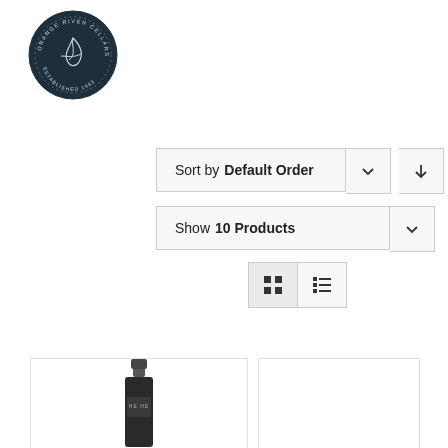[Figure (logo): Orange River Cellars circular logo — dark navy circle with stylized leaf/feather script mark in center, text 'Orange River Cellars' and 'Established 1963' around the border in white.]
Sort by Default Order
Show 10 Products
[Figure (other): Grid view and list view toggle buttons]
[Figure (photo): Partial top of a wine bottle with dark cap and label reading 'HE HE']
[Figure (photo): Partial wine bottle product card (second item, mostly empty/white)]